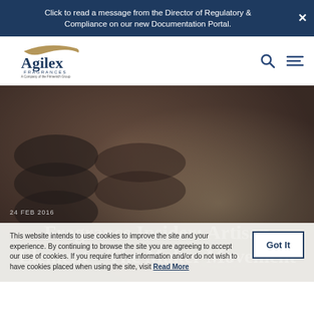Click to read a message from the Director of Regulatory & Compliance on our new Documentation Portal.
[Figure (logo): Agilex Fragrances logo — stylized swoosh above 'Agilex' in navy, with 'FRAGRANCES' subtitle and 'A Company of the Firmenich Group' tagline]
Fragrance Insider: Artisan Element – The Maker Movement
This website intends to use cookies to improve the site and your experience. By continuing to browse the site you are agreeing to accept our use of cookies. If you require further information and/or do not wish to have cookies placed when using the site, visit Read More
24 FEB 2016